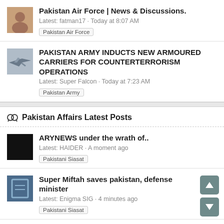Pakistan Air Force | News & Discussions.
Latest: fatman17 · Today at 8:07 AM
Pakistan Air Force
PAKISTAN ARMY INDUCTS NEW ARMOURED CARRIERS FOR COUNTERTERRORISM OPERATIONS
Latest: Super Falcon · Today at 7:23 AM
Pakistan Army
Pakistan Affairs Latest Posts
ARYNEWS under the wrath of..
Latest: HAIDER · A moment ago
Pakistani Siasat
Super Miftah saves pakistan, defense minister
Latest: Enigma SIG · 4 minutes ago
Pakistani Siasat
Justice Ather Minallah bombshell - Courts overthrowing PTI